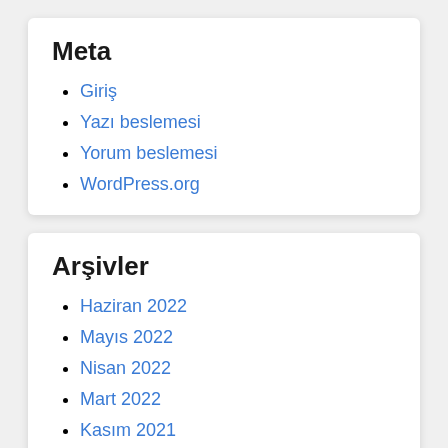Meta
Giriş
Yazı beslemesi
Yorum beslemesi
WordPress.org
Arşivler
Haziran 2022
Mayıs 2022
Nisan 2022
Mart 2022
Kasım 2021